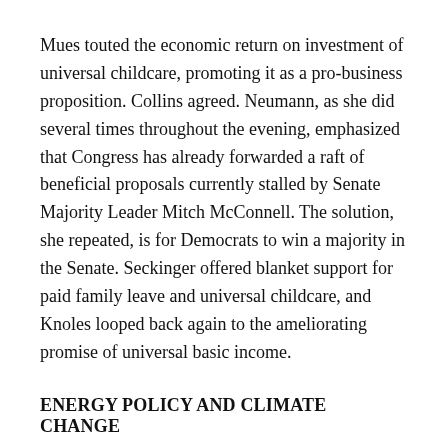Mues touted the economic return on investment of universal childcare, promoting it as a pro-business proposition. Collins agreed. Neumann, as she did several times throughout the evening, emphasized that Congress has already forwarded a raft of beneficial proposals currently stalled by Senate Majority Leader Mitch McConnell. The solution, she repeated, is for Democrats to win a majority in the Senate. Seckinger offered blanket support for paid family leave and universal childcare, and Knoles looped back again to the ameliorating promise of universal basic income.
ENERGY POLICY AND CLIMATE CHANGE